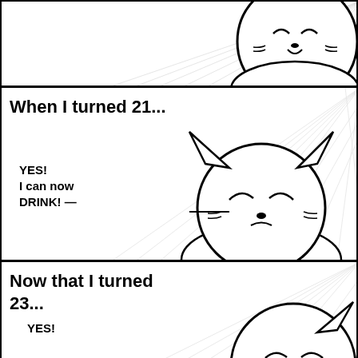[Figure (illustration): Comic strip panel 1: anime-style cat character sleeping, drawn in black and white sketch style with speed lines in background]
[Figure (illustration): Comic strip panel 2: 'When I turned 21...' text with anime cat character excitedly saying 'YES! I can now DRINK!' with a speech line, black and white sketch]
When I turned 21...
YES!
I can now
DRINK!
[Figure (illustration): Comic strip panel 3: 'Now that I turned 23...' text with anime cat character beginning to say 'YES!' black and white sketch]
Now that I turned 23...
YES!